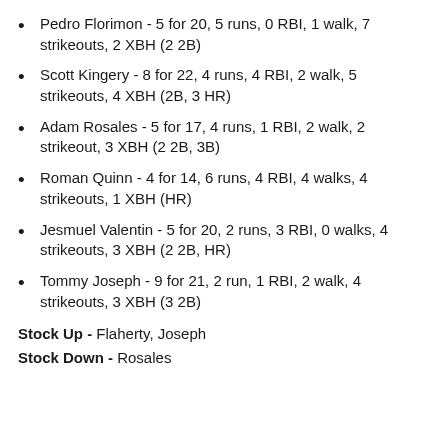Pedro Florimon - 5 for 20, 5 runs, 0 RBI, 1 walk, 7 strikeouts, 2 XBH (2 2B)
Scott Kingery - 8 for 22, 4 runs, 4 RBI, 2 walk, 5 strikeouts, 4 XBH (2B, 3 HR)
Adam Rosales - 5 for 17, 4 runs, 1 RBI, 2 walk, 2 strikeout, 3 XBH (2 2B, 3B)
Roman Quinn - 4 for 14, 6 runs, 4 RBI, 4 walks, 4 strikeouts, 1 XBH (HR)
Jesmuel Valentin - 5 for 20, 2 runs, 3 RBI, 0 walks, 4 strikeouts, 3 XBH (2 2B, HR)
Tommy Joseph - 9 for 21, 2 run, 1 RBI, 2 walk, 4 strikeouts, 3 XBH (3 2B)
Stock Up - Flaherty, Joseph
Stock Down - Rosales